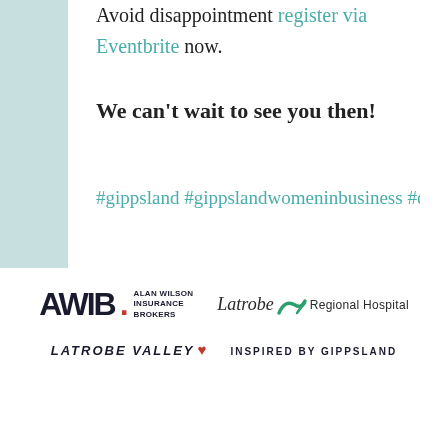Avoid disappointment register via Eventbrite now.
We can't wait to see you then!
#gippsland #gippslandwomeninbusiness #conf
[Figure (logo): AWIB Alan Wilson Insurance Brokers logo]
[Figure (logo): Latrobe Regional Hospital logo with swoosh graphic]
[Figure (logo): Latrobe Valley logo with heart]
[Figure (logo): Inspired By Gippsland logo]